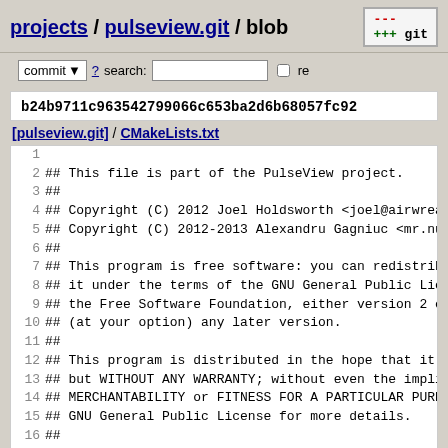projects / pulseview.git / blob
commit ? search: re
b24b9711c963542799066c653ba2d6b68057fc92
[pulseview.git] / CMakeLists.txt
1
2 ## This file is part of the PulseView project.
3 ##
4 ## Copyright (C) 2012 Joel Holdsworth <joel@airwreath...
5 ## Copyright (C) 2012-2013 Alexandru Gagniuc <mr.nuke.m...
6 ##
7 ## This program is free software: you can redistribute...
8 ## it under the terms of the GNU General Public License...
9 ## the Free Software Foundation, either version 2 of th...
10 ## (at your option) any later version.
11 ##
12 ## This program is distributed in the hope that it will...
13 ## but WITHOUT ANY WARRANTY; without even the implied w...
14 ## MERCHANTABILITY or FITNESS FOR A PARTICULAR PURPOSE....
15 ## GNU General Public License for more details.
16 ##
17 ## You should have received a copy of the GNU General P...
18 ## along with this program. If not, see <http://www.g...
19 ##
20
21 ...